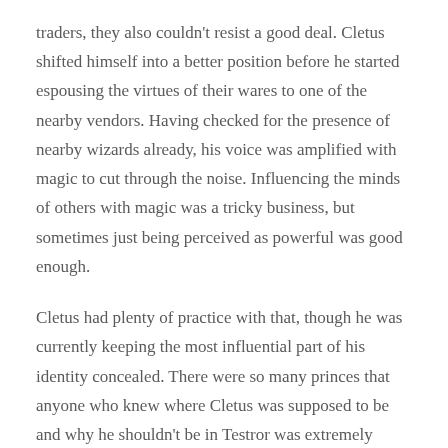traders, they also couldn't resist a good deal. Cletus shifted himself into a better position before he started espousing the virtues of their wares to one of the nearby vendors. Having checked for the presence of nearby wizards already, his voice was amplified with magic to cut through the noise. Influencing the minds of others with magic was a tricky business, but sometimes just being perceived as powerful was good enough.
Cletus had plenty of practice with that, though he was currently keeping the most influential part of his identity concealed. There were so many princes that anyone who knew where Cletus was supposed to be and why he shouldn't be in Testror was extremely unlikely to be present- but spreading word would be a mistake. Instead he was hiding in plain sight.